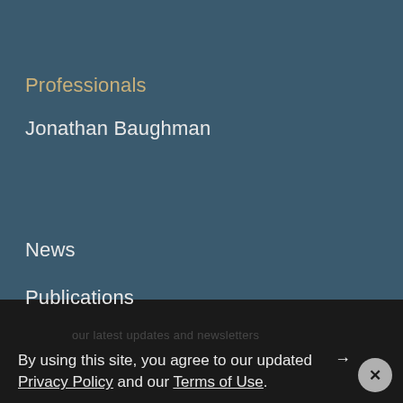Professionals
Jonathan Baughman
News
Publications
By using this site, you agree to our updated Privacy Policy and our Terms of Use.